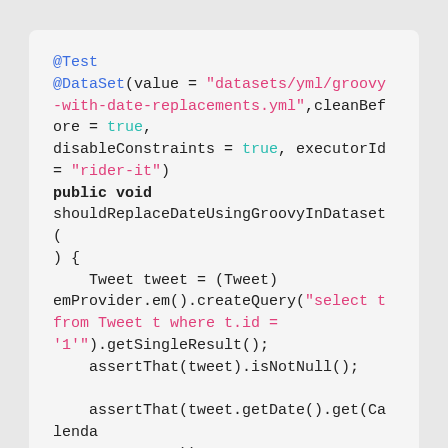@Test
@DataSet(value = "datasets/yml/groovy-with-date-replacements.yml",cleanBefore = true, disableConstraints = true, executorId = "rider-it")
public void shouldReplaceDateUsingGroovyInDataset() {
    Tweet tweet = (Tweet) emProvider.em().createQuery("select t from Tweet t where t.id = '1'").getSingleResult();
    assertThat(tweet).isNotNull();

    assertThat(tweet.getDate().get(Calendar.DAY_OF_MONTH)).

    isEqualTo(now.get(Calendar.DAY_OF_MONTH));
    assertThat(tweet.getDate().